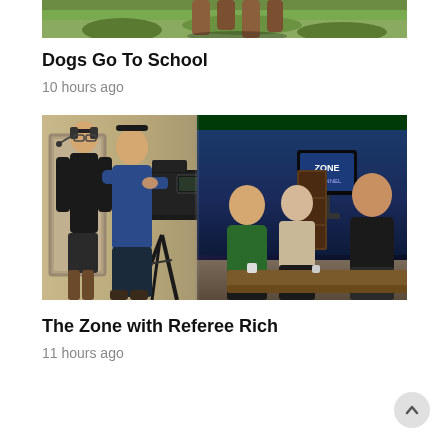[Figure (photo): Partial top view of a dog on grass, only lower portion visible]
Dogs Go To School
10 hours ago
[Figure (photo): Behind-the-scenes at a TV studio: a cameraman in a blue shirt operating a large camera on a tripod, a man in black with a headset standing to the left, and three men seated in the studio background in front of a blue-curtained set with a TV monitor showing 'The Zone']
The Zone with Referee Rich
11 hours ago